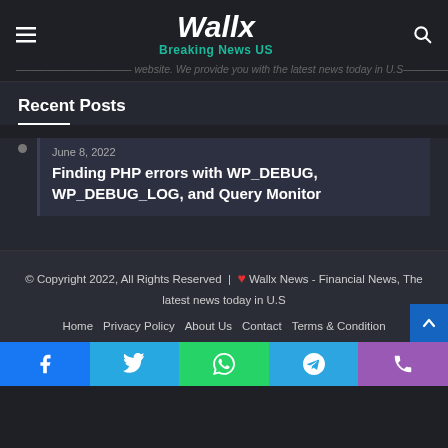Wallx - Breaking News US
...website. We provide you with the latest news today in U.S...
Recent Posts
June 8, 2022 — Finding PHP errors with WP_DEBUG, WP_DEBUG_LOG, and Query Monitor
© Copyright 2022, All Rights Reserved | ❤ Wallx News - Financial News, The latest news today in U.S
Home | Privacy Policy | About Us | Contact | Terms & Condition